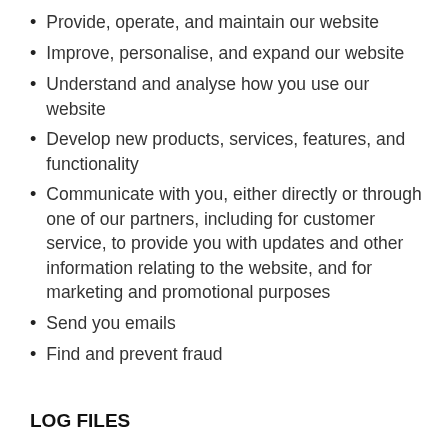Provide, operate, and maintain our website
Improve, personalise, and expand our website
Understand and analyse how you use our website
Develop new products, services, features, and functionality
Communicate with you, either directly or through one of our partners, including for customer service, to provide you with updates and other information relating to the website, and for marketing and promotional purposes
Send you emails
Find and prevent fraud
LOG FILES